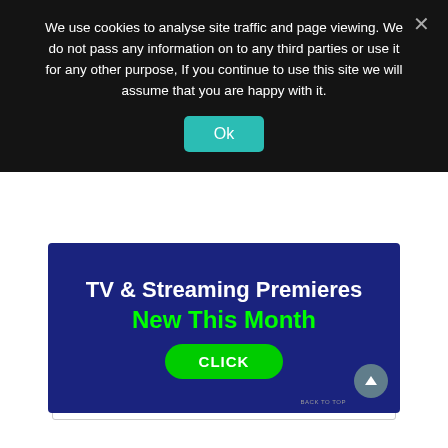We use cookies to analyse site traffic and page viewing. We do not pass any information on to any third parties or use it for any other purpose, If you continue to use this site we will assume that you are happy with it.
Ok
Enter your comment here...
[Figure (infographic): Advertisement banner with dark blue background. White bold text reads 'TV & Streaming Premieres', green bold text reads 'New This Month', and a green oval button reads 'CLICK'. A teal circle with an up arrow (back to top) appears in the bottom right.]